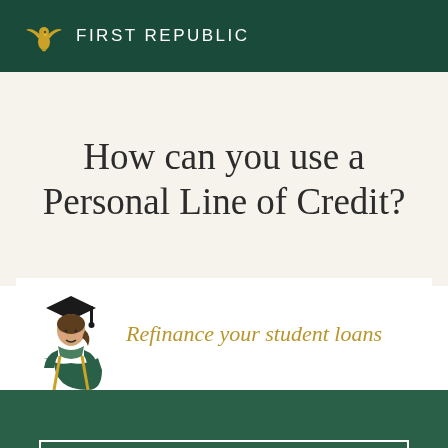First Republic
How can you use a Personal Line of Credit?
[Figure (illustration): Illustration of a female graduate in cap and gown]
Refinance your student loans
See your rate (2 min)